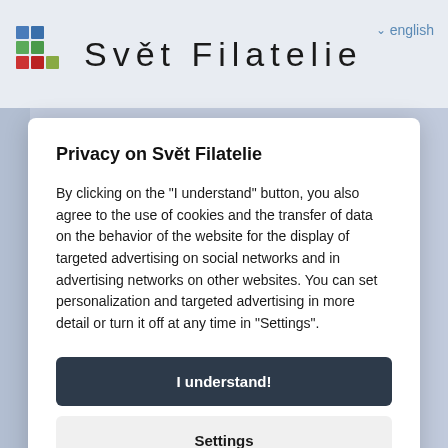[Figure (logo): Svět Filatelie logo — colorful grid of squares (blue, green, red) with site name]
Svět Filatelie
english
Privacy on Svět Filatelie
By clicking on the "I understand" button, you also agree to the use of cookies and the transfer of data on the behavior of the website for the display of targeted advertising on social networks and in advertising networks on other websites. You can set personalization and targeted advertising in more detail or turn it off at any time in "Settings".
I understand!
Settings